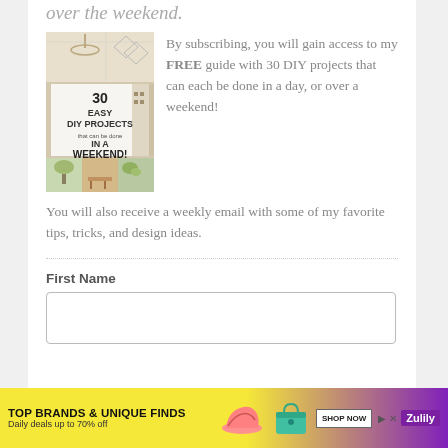over the weekend.
[Figure (illustration): Book cover: '30 Easy DIY Projects that can be done In A Weekend!' with collage of home interior photos]
By subscribing, you will gain access to my FREE guide with 30 DIY projects that can each be done in a day, or over a weekend!

You will also receive a weekly email with some of my favorite tips, tricks, and design ideas.
First Name
[Figure (other): Ad banner: TOP BRANDS & UNIQUE FINDS - Daily deals up to 70% off - SHOP NOW - Zulily]